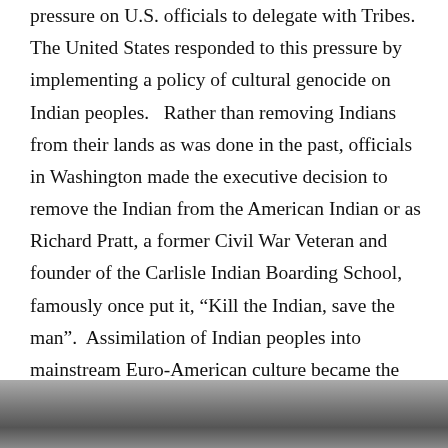pressure on U.S. officials to delegate with Tribes.  The United States responded to this pressure by implementing a policy of cultural genocide on Indian peoples.   Rather than removing Indians from their lands as was done in the past, officials in Washington made the executive decision to remove the Indian from the American Indian or as Richard Pratt, a former Civil War Veteran and founder of the Carlisle Indian Boarding School, famously once put it, "Kill the Indian, save the man".  Assimilation of Indian peoples into mainstream Euro-American culture became the objective of the United States government at the latter part of the 19th Century.  The United States executed the process of assimilating Indians in two major ways: forcing Indians to attend assimilative boarding schools and destabilizing the land base of Indian nations by allotting tribal land to Indian families and individual tribal members.
[Figure (photo): A black and white historical photograph, partially visible at the bottom of the page.]